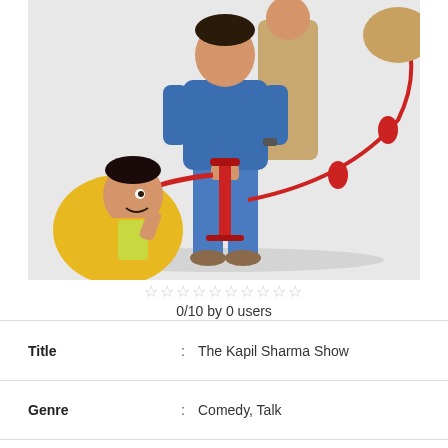[Figure (photo): Promotional image for The Kapil Sharma Show featuring cast members including a man in blue denim outfit holding a pump, a cartoon-like character in yellow suit, and a person in beige outfit on a grey background with a red dog leash visible]
0/10 by 0 users
| Title | : | The Kapil Sharma Show |
| Genre | : | Comedy, Talk |
| Air Date | : | 2019-08-10 |